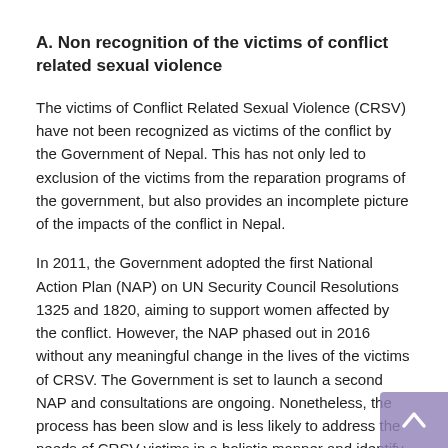A. Non recognition of the victims of conflict related sexual violence
The victims of Conflict Related Sexual Violence (CRSV) have not been recognized as victims of the conflict by the Government of Nepal. This has not only led to exclusion of the victims from the reparation programs of the government, but also provides an incomplete picture of the impacts of the conflict in Nepal.
In 2011, the Government adopted the first National Action Plan (NAP) on UN Security Council Resolutions 1325 and 1820, aiming to support women affected by the conflict. However, the NAP phased out in 2016 without any meaningful change in the lives of the victims of CRSV. The Government is set to launch a second NAP and consultations are ongoing. Nonetheless, the process has been slow and is less likely to address the needs of CRSV victims in a holistic manner and identify and prosecute the perpetrators.